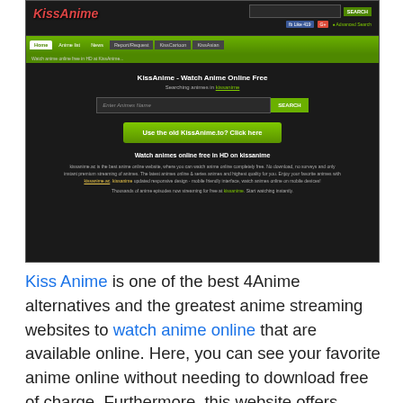[Figure (screenshot): Screenshot of KissAnime website showing the homepage with navigation bar, search field, green button 'Use the old KissAnime.to? Click here', and description text about watching anime online free in HD.]
Kiss Anime is one of the best 4Anime alternatives and the greatest anime streaming websites to watch anime online that are available online. Here, you can see your favorite anime online without needing to download free of charge. Furthermore, this website offers various categories available on this site; in reality, you can also watch without enrollment. Aside from